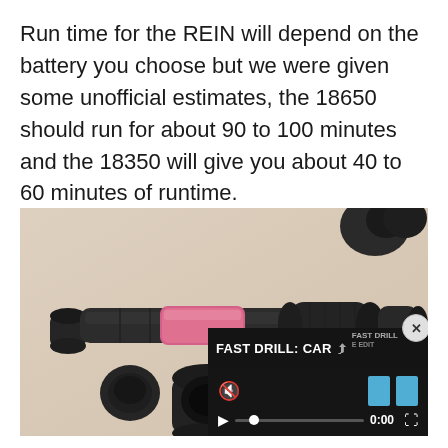Run time for the REIN will depend on the battery you choose but we were given some unofficial estimates, the 18650 should run for about 90 to 100 minutes and the 18350 will give you about 40 to 60 minutes of runtime.
[Figure (photo): Photo of disassembled REIN flashlight/weapon light showing black body components, a pink/rose colored battery cell, and black end caps laid out on a beige surface. A video overlay in the bottom right shows 'FAST DRILL: CAR' with playback controls showing 0:00 timestamp, mute icon, play button, progress bar, and blue target rectangles. A close button (x) appears at the top right of the video overlay.]